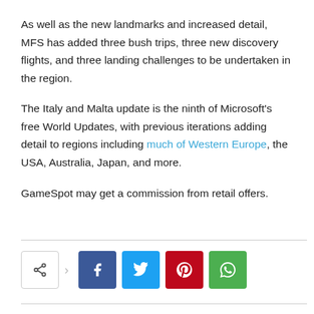As well as the new landmarks and increased detail, MFS has added three bush trips, three new discovery flights, and three landing challenges to be undertaken in the region.
The Italy and Malta update is the ninth of Microsoft's free World Updates, with previous iterations adding detail to regions including much of Western Europe, the USA, Australia, Japan, and more.
GameSpot may get a commission from retail offers.
[Figure (other): Social share buttons row: a share icon with arrow, followed by Facebook, Twitter, Pinterest, and WhatsApp buttons]